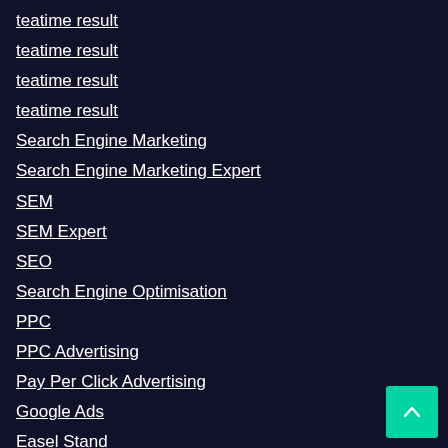teatime result
teatime result
teatime result
teatime result
Search Engine Marketing
Search Engine Marketing Expert
SEM
SEM Expert
SEO
Search Engine Optimisation
PPC
PPC Advertising
Pay Per Click Advertising
Google Ads
Easel Stand